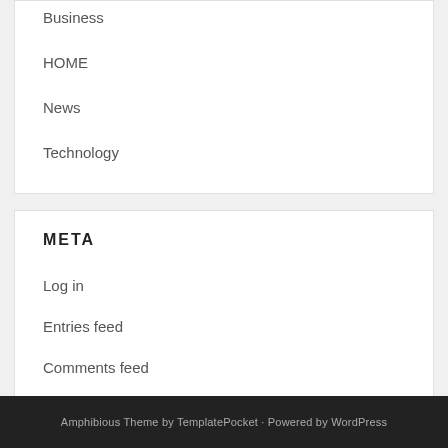Business
HOME
News
Technology
META
Log in
Entries feed
Comments feed
WordPress.org
Amphibious Theme by TemplatePocket · Powered by WordPress